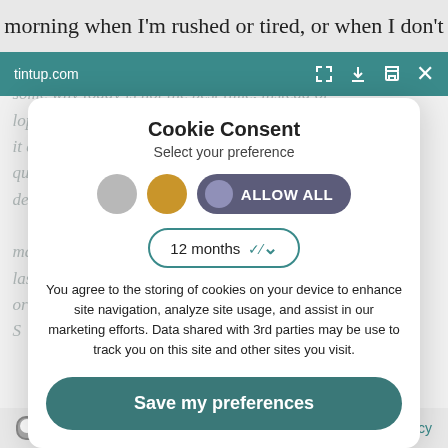morning when I'm rushed or tired, or when I don't
tintup.com
[Figure (screenshot): Cookie consent modal dialog with 'Cookie Consent' title, 'Select your preference' subtitle, three toggle circles (grey, gold, purple with ALLOW ALL text), a 12 months dropdown, cookie usage text, and a 'Save my preferences' button]
Cookie Consent
Select your preference
ALLOW ALL
12 months
You agree to the storing of cookies on your device to enhance site navigation, analyze site usage, and assist in our marketing efforts. Data shared with 3rd parties may be use to track you on this site and other sites you visit.
Save my preferences
Settings | Privacy policy